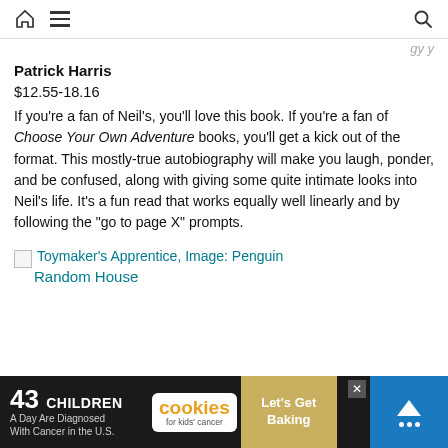Navigation bar with home icon, hamburger menu, and search icon
...gy y...
Patrick Harris
$12.55-18.16
If you're a fan of Neil's, you'll love this book. If you're a fan of Choose Your Own Adventure books, you'll get a kick out of the format. This mostly-true autobiography will make you laugh, ponder, and be confused, along with giving some quite intimate looks into Neil's life. It's a fun read that works equally well linearly and by following the "go to page X" prompts.
[Figure (other): Broken image placeholder for Toymaker's Apprentice, Image: Penguin Random House]
Random House
[Figure (other): Ad banner: 43 CHILDREN A Day Are Diagnosed With Cancer in the U.S. | cookies for kids cancer | Let's Get Baking]